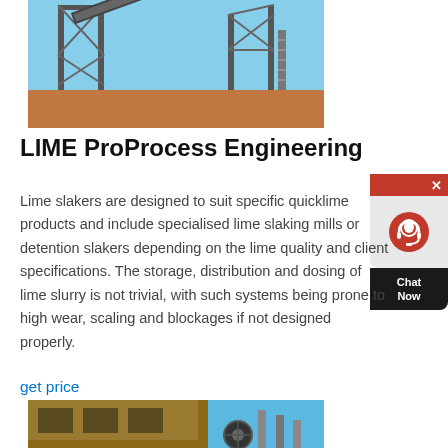[Figure (photo): Industrial conveyor system and steel structure equipment at a mining or processing site, set against a blue sky with sandy terrain below.]
LIME ProProcess Engineering
Lime slakers are designed to suit specific quicklime products and include specialised lime slaking mills or detention slakers depending on the lime quality and client specifications. The storage, distribution and dosing of lime slurry is not trivial, with such systems being prone to high wear, scaling and blockages if not designed properly.
get price
[Figure (photo): Industrial processing equipment including a large mechanical unit with pulleys and pipes, photographed against a bright blue sky.]